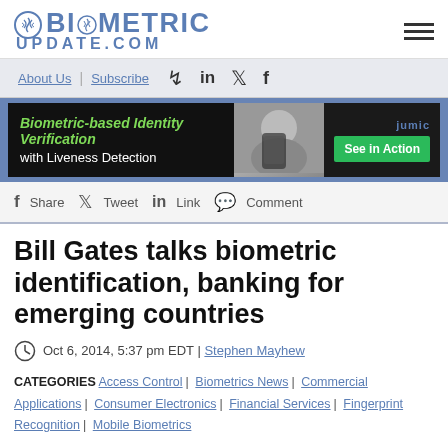BIOMETRIC UPDATE.COM
About Us | Subscribe
[Figure (infographic): Advertisement banner: Biometric-based Identity Verification with Liveness Detection - Jumio, See in Action]
f Share  Tweet in Link  Comment
Bill Gates talks biometric identification, banking for emerging countries
Oct 6, 2014, 5:37 pm EDT | Stephen Mayhew
CATEGORIES  Access Control | Biometrics News | Commercial Applications | Consumer Electronics | Financial Services | Fingerprint Recognition | Mobile Biometrics